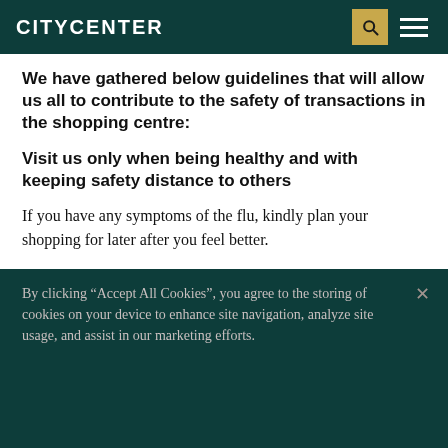CITYCENTER
We have gathered below guidelines that will allow us all to contribute to the safety of transactions in the shopping centre:
Visit us only when being healthy and with keeping safety distance to others
If you have any symptoms of the flu, kindly plan your shopping for later after you feel better.
By clicking “Accept All Cookies”, you agree to the storing of cookies on your device to enhance site navigation, analyze site usage, and assist in our marketing efforts.